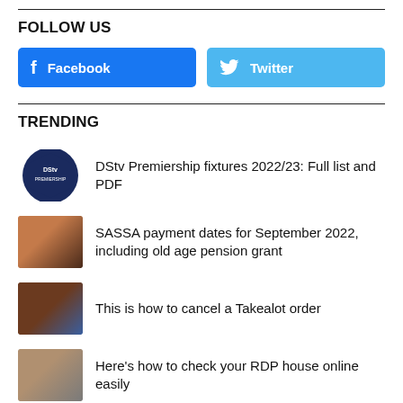FOLLOW US
[Figure (infographic): Facebook social media button (blue) and Twitter social media button (light blue) side by side]
TRENDING
DStv Premiership fixtures 2022/23: Full list and PDF
SASSA payment dates for September 2022, including old age pension grant
This is how to cancel a Takealot order
Here's how to check your RDP house online easily